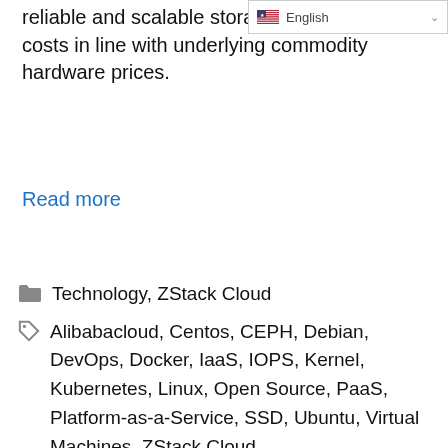reliable and scalable storage and OPEX costs in line with underlying commodity hardware prices.
Read more
Technology, ZStack Cloud
Alibabacloud, Centos, CEPH, Debian, DevOps, Docker, IaaS, IOPS, Kernel, Kubernetes, Linux, Open Source, PaaS, Platform-as-a-Service, SSD, Ubuntu, Virtual Machines, ZStack Cloud